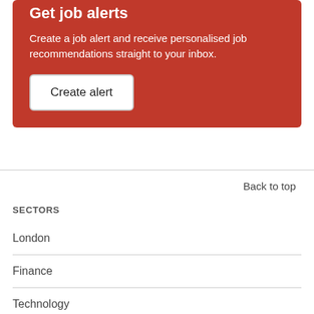Get job alerts
Create a job alert and receive personalised job recommendations straight to your inbox.
Create alert
Back to top
SECTORS
London
Finance
Technology
Graduate